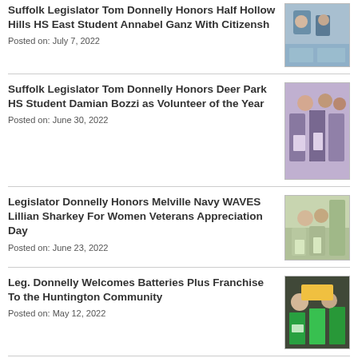Suffolk Legislator Tom Donnelly Honors Half Hollow Hills HS East Student Annabel Ganz With Citizensh
Posted on: July 7, 2022
Suffolk Legislator Tom Donnelly Honors Deer Park HS Student Damian Bozzi as Volunteer of the Year
Posted on: June 30, 2022
Legislator Donnelly Honors Melville Navy WAVES Lillian Sharkey For Women Veterans Appreciation Day
Posted on: June 23, 2022
Leg. Donnelly Welcomes Batteries Plus Franchise To the Huntington Community
Posted on: May 12, 2022
Leg. Donnelly Joins with Local Officials for Eagle